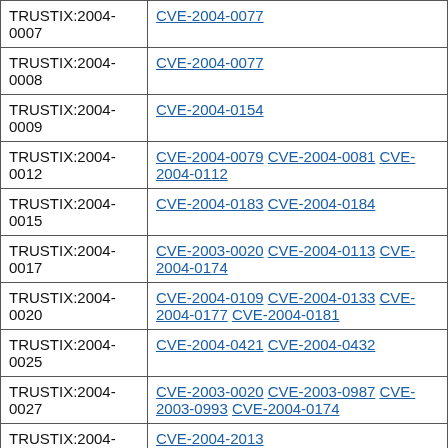| Advisory ID | CVE References |
| --- | --- |
| TRUSTIX:2004-0007 | CVE-2004-0077 |
| TRUSTIX:2004-0008 | CVE-2004-0077 |
| TRUSTIX:2004-0009 | CVE-2004-0154 |
| TRUSTIX:2004-0012 | CVE-2004-0079 CVE-2004-0081 CVE-2004-0112 |
| TRUSTIX:2004-0015 | CVE-2004-0183 CVE-2004-0184 |
| TRUSTIX:2004-0017 | CVE-2003-0020 CVE-2004-0113 CVE-2004-0174 |
| TRUSTIX:2004-0020 | CVE-2004-0109 CVE-2004-0133 CVE-2004-0177 CVE-2004-0181 |
| TRUSTIX:2004-0025 | CVE-2004-0421 CVE-2004-0432 |
| TRUSTIX:2004-0027 | CVE-2003-0020 CVE-2003-0987 CVE-2003-0993 CVE-2004-0174 |
| TRUSTIX:2004-0029 | CVE-2004-2013 |
| TRUSTIX:2004-... |  |